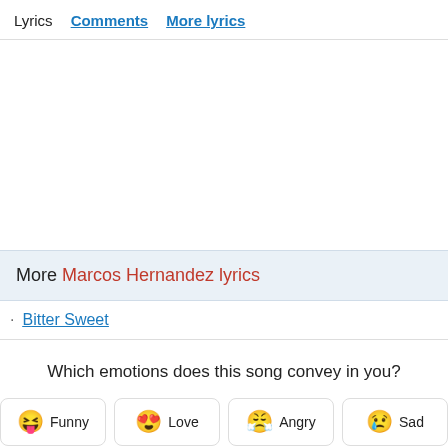Lyrics  Comments  More lyrics
More Marcos Hernandez lyrics
Bitter Sweet
Which emotions does this song convey in you?
Funny  Love  Angry  Sad